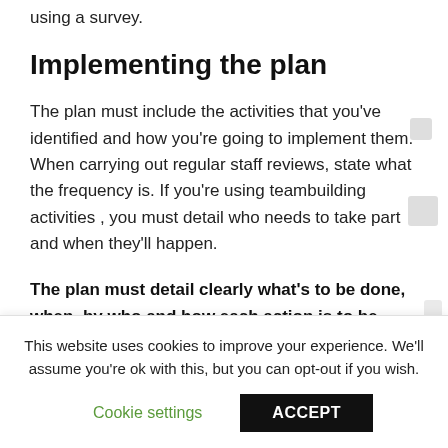using a survey.
Implementing the plan
The plan must include the activities that you've identified and how you're going to implement them. When carrying out regular staff reviews, state what the frequency is. If you're using teambuilding activities , you must detail who needs to take part and when they'll happen.
The plan must detail clearly what's to be done, when, by who and how each action is to be monitored.
This website uses cookies to improve your experience. We'll assume you're ok with this, but you can opt-out if you wish.